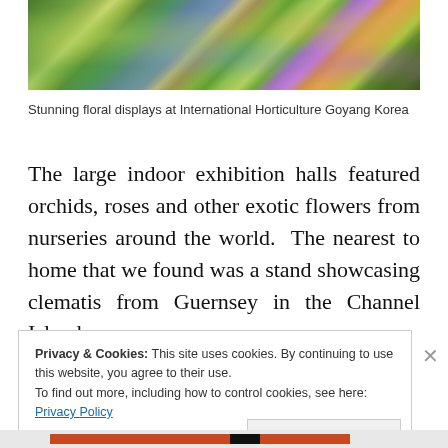[Figure (photo): Colorful floral displays with various flowers including blue, yellow, pink and green plants at International Horticulture Goyang Korea]
Stunning floral displays at International Horticulture Goyang Korea
The large indoor exhibition halls featured orchids, roses and other exotic flowers from nurseries around the world.  The nearest to home that we found was a stand showcasing clematis from Guernsey in the Channel Islands.
Privacy & Cookies: This site uses cookies. By continuing to use this website, you agree to their use.
To find out more, including how to control cookies, see here: Privacy Policy
Close and accept